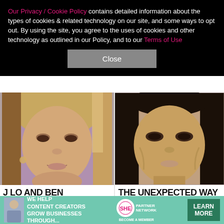Our Privacy / Cookie Policy contains detailed information about the types of cookies & related technology on our site, and some ways to opt out. By using the site, you agree to the uses of cookies and other technology as outlined in our Policy, and to our Terms of Use
Close
[Figure (photo): Close-up photo of a woman with blonde highlighted hair, smoky eye makeup, smiling]
J LO AND BEN AFFLECK'S GORGEOUS GEORGIA WEDDING IN...
[Figure (photo): Close-up photo of a woman with dark hair, heavy eye makeup, neutral expression]
THE UNEXPECTED WAY KIM KARDASHIAN JUS TOOK DOWN HILLARY...
[Figure (infographic): Advertisement banner: WE HELP CONTENT CREATORS GROW BUSINESSES THROUGH... SHE PARTNER NETWORK BECOME A MEMBER LEARN MORE]